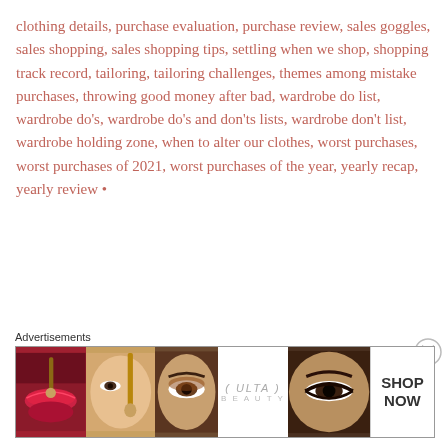clothing details, purchase evaluation, purchase review, sales goggles, sales shopping, sales shopping tips, settling when we shop, shopping track record, tailoring, tailoring challenges, themes among mistake purchases, throwing good money after bad, wardrobe do list, wardrobe do's, wardrobe do's and don'ts lists, wardrobe don't list, wardrobe holding zone, when to alter our clothes, worst purchases, worst purchases of 2021, worst purchases of the year, yearly recap, yearly review •
Advertisements
[Figure (photo): Advertisement banner for Ulta Beauty showing close-up photos of makeup: red lips with brush, eye with makeup, Ulta Beauty logo, smoky eye, and SHOP NOW text]